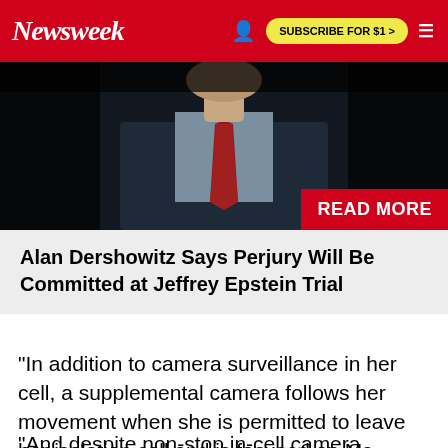Newsweek | SUBSCRIBE FOR $1 >
[Figure (photo): Photo of a man in suit and red tie, dark background, partially cropped]
READ MORE
Alan Dershowitz Says Perjury Will Be Committed at Jeffrey Epstein Trial
"In addition to camera surveillance in her cell, a supplemental camera follows her movement when she is permitted to leave her isolation cell and is focused on Ms. Maxwell and counsel during in-person legal visits.
"And despite non-stop in-cell camera